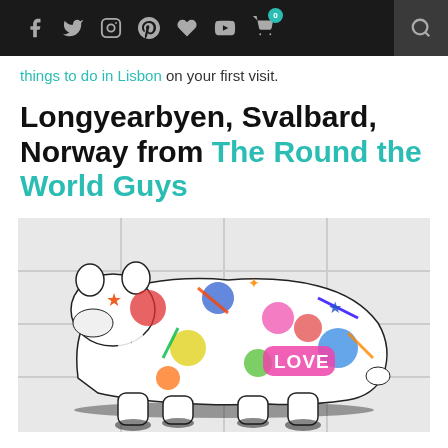Navigation bar with social icons: Facebook, Twitter, Instagram, Pinterest, Heart/Bloglovin, YouTube, Cart (0), Search
things to do in Lisbon on your first visit.
Longyearbyen, Svalbard, Norway from The Round the World Guys
[Figure (photo): A polar bear outline filled with colorful graffiti artwork, painted as a mural on a white tiled wall. The graffiti includes the word 'LOVE' in pink bubble letters and various colorful spray paint designs.]